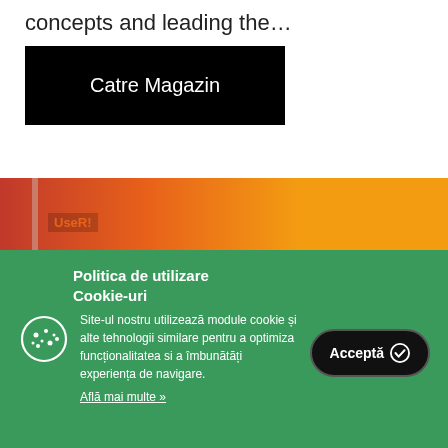concepts and leading the…
[Figure (other): Black button labeled 'Catre Magazin']
[Figure (other): Orange gradient banner with 'UseR!' text overlay]
Politica de utilizare Cookie-uri
Site-ul nostru utilizează module cookie și alte tehnologii similare pentru a optimiza funcționalitatea si a îmbunătăți experiența de navigare.
Află mai multe »
[Figure (other): Black rounded button labeled 'Acceptă' with checkmark icon]